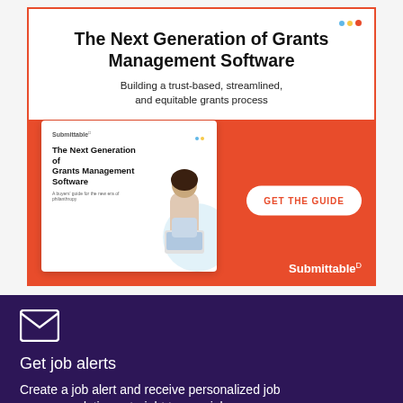[Figure (infographic): Advertisement for Submittable's guide: 'The Next Generation of Grants Management Software'. White top section with title and subtitle, orange bottom section with a white book cover card showing a woman with a laptop, and a 'GET THE GUIDE' call-to-action button. Submittable logo in bottom right.]
Get job alerts
Create a job alert and receive personalized job recommendations straight to your inbox.